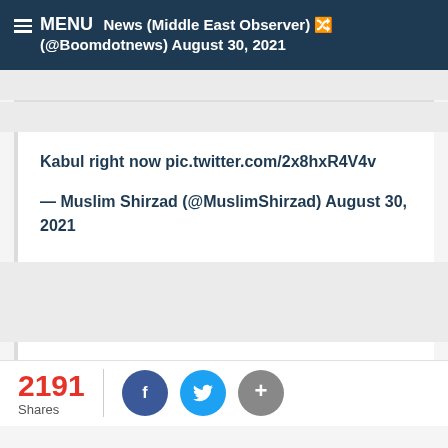MENU News (Middle East Observer) (@Boomdotnews) August 30, 2021
Kabul right now pic.twitter.com/2x8hxR4V4v
— Muslim Shirzad (@MuslimShirzad) August 30, 2021
2191 Shares